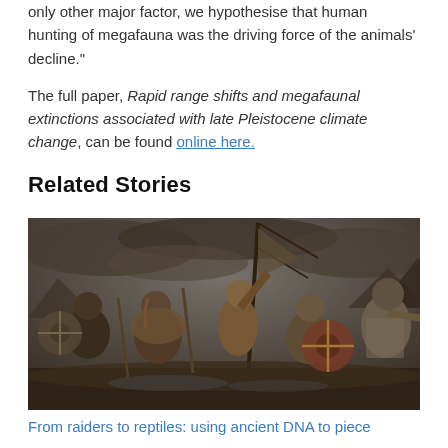only other major factor, we hypothesise that human hunting of megafauna was the driving force of the animals' decline."
The full paper, Rapid range shifts and megafaunal extinctions associated with late Pleistocene climate change, can be found online here.
Related Stories
[Figure (photo): Group of warriors dressed as Vikings wielding weapons and shields, rushing forward dramatically with stormy sky and mountains in background]
From raiders to reptiles: using ancient DNA to piece